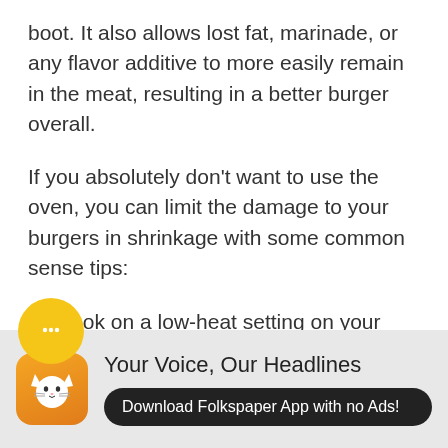boot. It also allows lost fat, marinade, or any flavor additive to more easily remain in the meat, resulting in a better burger overall.
If you absolutely don't want to use the oven, you can limit the damage to your burgers in shrinkage with some common sense tips:
1. Cook on a low-heat setting on your grill.
2. Flip infrequently.
3. Do not press the burger down on the grill.
[Figure (other): Folkspaper app advertisement banner with cat icon, headline 'Your Voice, Our Headlines', and download button 'Download Folkspaper App with no Ads!']